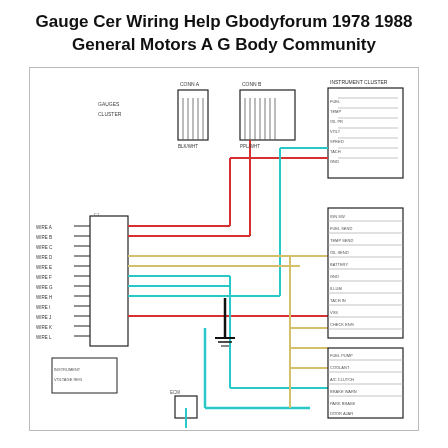Gauge Cer Wiring Help Gbodyforum 1978 1988 General Motors A G Body Community
[Figure (schematic): Automotive gauge cluster wiring diagram for 1978-1988 General Motors A/G Body vehicles. Shows colored wiring connections (red, cyan/light blue, yellow/tan, black) between connectors and components including gauges. Left side shows a multi-pin connector block, center shows wire routing with a ground symbol, right side shows multiple labeled connector terminals. Diagram includes small text labels for wire colors and connector IDs throughout.]